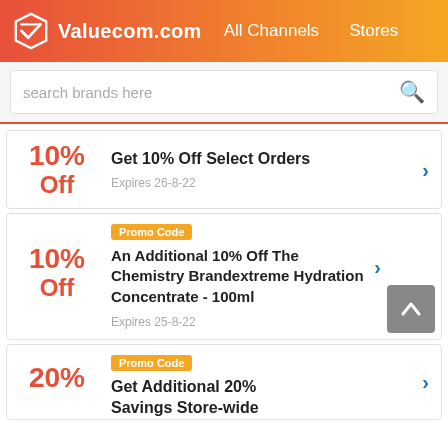Valuecom.com  All Channels  Stores
search brands here
10% Off — Get 10% Off Select Orders — Expires 26-8-22
Promo Code — 10% Off — An Additional 10% Off The Chemistry Brandextreme Hydration Concentrate - 100ml — Expires 25-8-22
Promo Code — 20% — Get Additional 20% Savings Store-wide